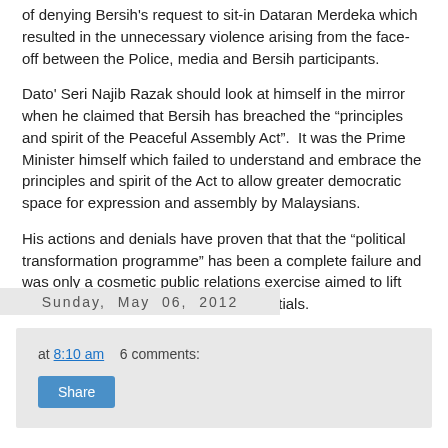of denying Bersih's request to sit-in Dataran Merdeka which resulted in the unnecessary violence arising from the face-off between the Police, media and Bersih participants.
Dato' Seri Najib Razak should look at himself in the mirror when he claimed that Bersih has breached the “principles and spirit of the Peaceful Assembly Act”.  It was the Prime Minister himself which failed to understand and embrace the principles and spirit of the Act to allow greater democratic space for expression and assembly by Malaysians.
His actions and denials have proven that that the “political transformation programme” has been a complete failure and was only a cosmetic public relations exercise aimed to lift the Prime Minister’s image and credentials.
at 8:10 am    6 comments:
Sunday, May 06, 2012